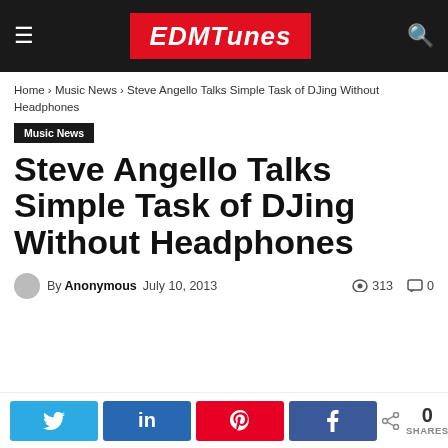EDMTUNES
Home › Music News › Steve Angello Talks Simple Task of DJing Without Headphones
Music News
Steve Angello Talks Simple Task of DJing Without Headphones
By Anonymous   July 10, 2013   313 views   0 comments
0 SHARES